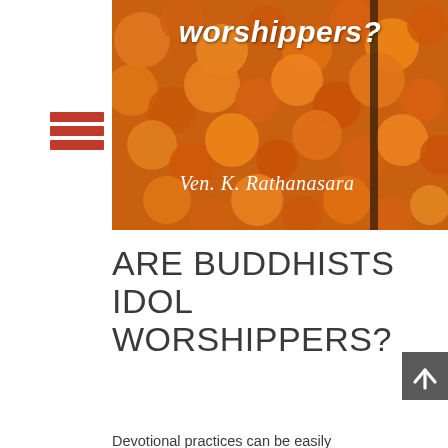[Figure (photo): Book or article cover image with orange marigold flowers in the background. White italic text reads 'worshippers?' at the top. At the bottom in white cursive: 'Ven. K. Rathanasara']
ARE BUDDHISTS IDOL WORSHIPPERS?
Devotional practices can be easily misunderstood or misinterpreted as idol worshipping. The Buddha in fact discouraged idol worshipping. He said, “It is because of fear and threatened with fear, human beings go to refuge to the mountain, to the trees, to the pagodas and they pay homage